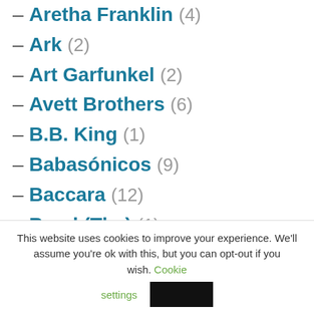– Aretha Franklin (4)
– Ark (2)
– Art Garfunkel (2)
– Avett Brothers (6)
– B.B. King (1)
– Babasónicos (9)
– Baccara (12)
– Band (The) (1)
This website uses cookies to improve your experience. We'll assume you're ok with this, but you can opt-out if you wish. Cookie settings